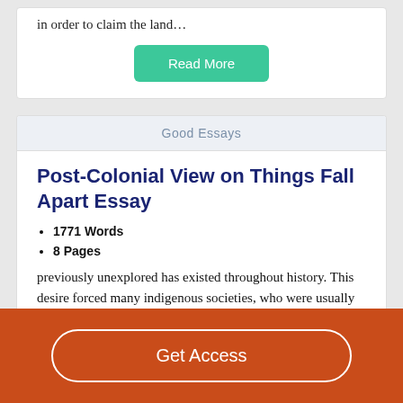in order to claim the land…
Read More
Good Essays
Post-Colonial View on Things Fall Apart Essay
1771 Words
8 Pages
previously unexplored has existed throughout history. This desire forced many indigenous societies, who were usually dominated technologically, to adapt to the teachings and
Get Access